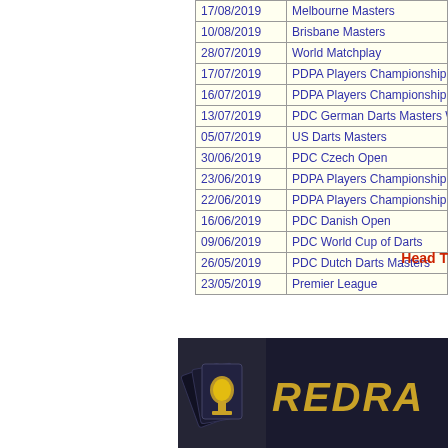| Date | Event |
| --- | --- |
| 17/08/2019 | Melbourne Masters |
| 10/08/2019 | Brisbane Masters |
| 28/07/2019 | World Matchplay |
| 17/07/2019 | PDPA Players Championship Ba… |
| 16/07/2019 | PDPA Players Championship Ba… |
| 13/07/2019 | PDC German Darts Masters Wor… |
| 05/07/2019 | US Darts Masters |
| 30/06/2019 | PDC Czech Open |
| 23/06/2019 | PDPA Players Championship Wi… |
| 22/06/2019 | PDPA Players Championship Wi… |
| 16/06/2019 | PDC Danish Open |
| 09/06/2019 | PDC World Cup of Darts |
| 26/05/2019 | PDC Dutch Darts Masters |
| 23/05/2019 | Premier League |
Head T
[Figure (photo): Red Dragon darts brand banner with trophy imagery and gold logo text on dark background]